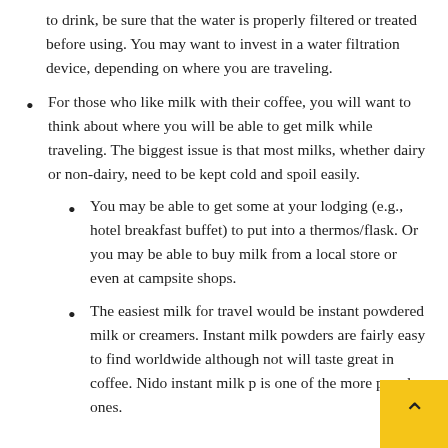to drink, be sure that the water is properly filtered or treated before using. You may want to invest in a water filtration device, depending on where you are traveling.
For those who like milk with their coffee, you will want to think about where you will be able to get milk while traveling. The biggest issue is that most milks, whether dairy or non-dairy, need to be kept cold and spoil easily.
You may be able to get some at your lodging (e.g., hotel breakfast buffet) to put into a thermos/flask. Or you may be able to buy milk from a local store or even at campsite shops.
The easiest milk for travel would be instant powdered milk or creamers. Instant milk powders are fairly easy to find worldwide although not will taste great in coffee. Nido instant milk p is one of the more popular ones.